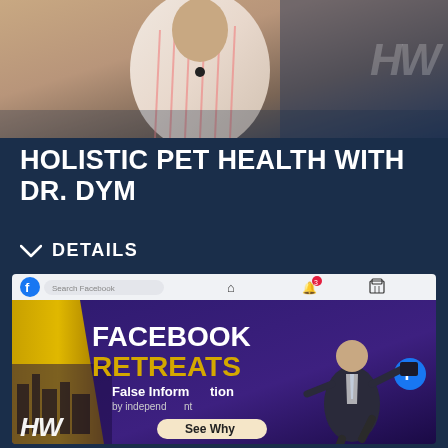[Figure (photo): Top image showing a person in a striped shirt with HW logo watermark in top right corner, dark blue background]
HOLISTIC PET HEALTH WITH DR. DYM
DETAILS
[Figure (screenshot): Screenshot of a Facebook-themed thumbnail showing 'FACEBOOK RETREATS' text with 'False Information by independent...' and a 'See Why' button, person in suit running, city background, HW logo at bottom left]